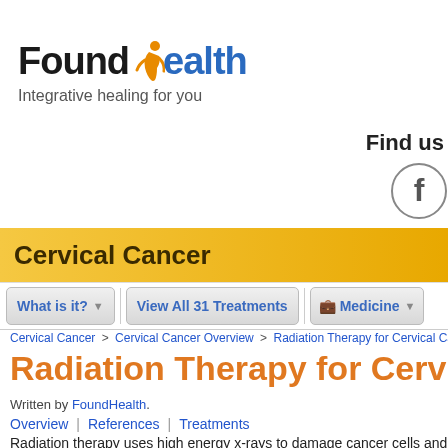[Figure (logo): FoundHealth logo with orange figure and text 'FoundHealth - Integrative healing for you']
Find us
[Figure (illustration): Facebook circular button icon]
Cervical Cancer
What is it? | View All 31 Treatments | Medicine
Cervical Cancer > Cervical Cancer Overview > Radiation Therapy for Cervical Cancer
Radiation Therapy for Cervical Can
Written by FoundHealth.
Overview | References | Treatments
Radiation therapy uses high energy x-rays to damage cancer cells and stop the